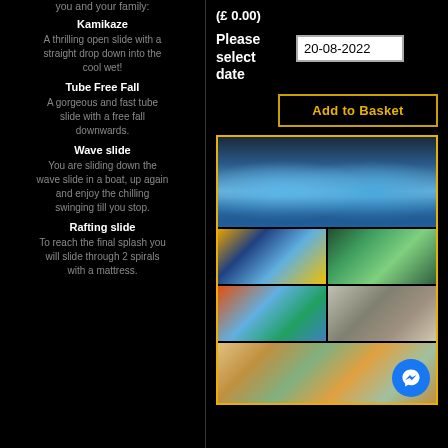you and your family:
Kamikaze
A thrilling open slide with a straight drop down into the cool wet!
Tube Free Fall
A gorgeous and fast tube slide with a free fall downwards.
Wave slide
You are sliding down the wave slide in a boat, up again and enjoy the chilling swinging till you stop.
Rafting slide
To reach the final splash you will slide through 2 spirals with a mattress.
(£ 0.00)
Please select date
20-08-2022
Add to Basket
[Figure (photo): Water park photo collage showing slides, pools, and aerial view]